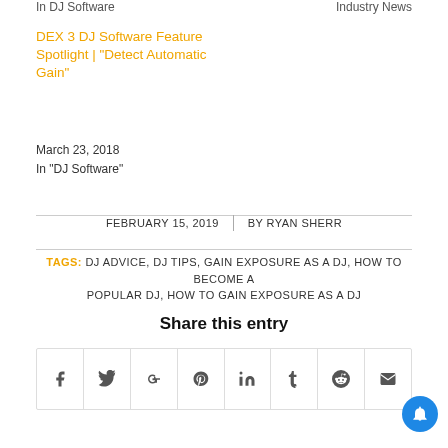In  DJ Software    Industry News
DEX 3 DJ Software Feature Spotlight | "Detect Automatic Gain"
March 23, 2018
In "DJ Software"
FEBRUARY 15, 2019  |  BY RYAN SHERR
TAGS: DJ ADVICE, DJ TIPS, GAIN EXPOSURE AS A DJ, HOW TO BECOME A POPULAR DJ, HOW TO GAIN EXPOSURE AS A DJ
Share this entry